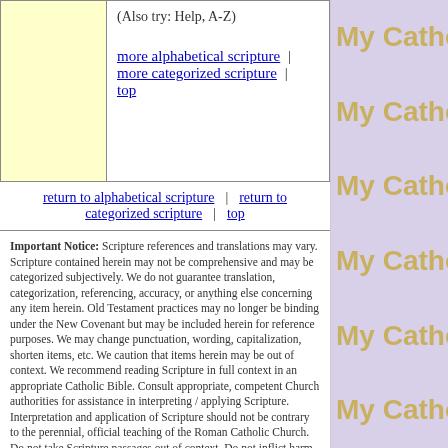(Also try: Help, A-Z)
more alphabetical scripture | more categorized scripture | top
return to alphabetical scripture | return to categorized scripture | top
Important Notice: Scripture references and translations may vary. Scripture contained herein may not be comprehensive and may be categorized subjectively. We do not guarantee translation, categorization, referencing, accuracy, or anything else concerning any item herein. Old Testament practices may no longer be binding under the New Covenant but may be included herein for reference purposes. We may change punctuation, wording, capitalization, shorten items, etc. We caution that items herein may be out of context. We recommend reading Scripture in full context in an appropriate Catholic Bible. Consult appropriate, competent Church authorities for assistance in interpreting / applying Scripture. Interpretation and application of Scripture should not be contrary to the perennial, official teaching of the Roman Catholic Church. Do not take Scripture passages out of context. Do not inflict harm on yourself or others, break laws, take unsuitable/incautious or inappropriate/drastic actions, or take figurative items literally. We are not responsible for any interpretation / misinterpretation, application / misapplication, use / misuse, etc. of Scripture. Use of site is at your own risk and is subject to our terms of use. Click here for important cautionary statement and other
[Figure (other): Repeated 'My Catho' text watermark on purple/lavender background on the right column]